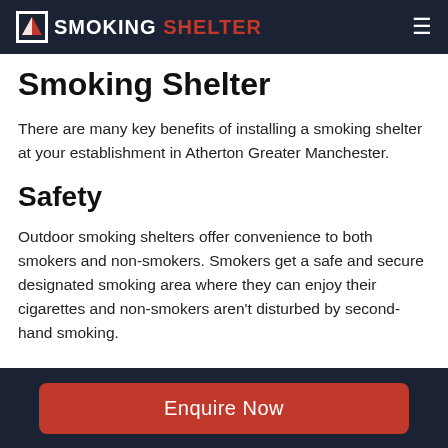SMOKING SHELTER
Smoking Shelter
There are many key benefits of installing a smoking shelter at your establishment in Atherton Greater Manchester.
Safety
Outdoor smoking shelters offer convenience to both smokers and non-smokers. Smokers get a safe and secure designated smoking area where they can enjoy their cigarettes and non-smokers aren't disturbed by second-hand smoking.
Enquire Now